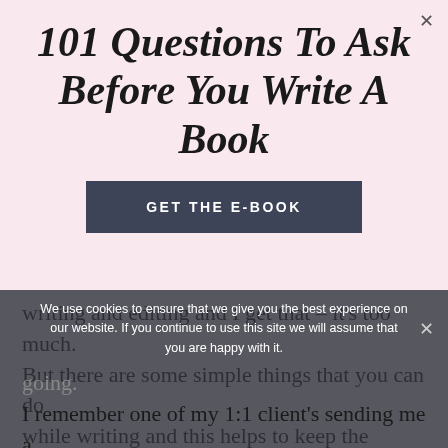101 Questions To Ask Before You Write A Book
GET THE E-BOOK
writing and editing and I get that – it's too much. But there are some simple things that you can do while writing and this helps to keep the momentum going.
We use cookies to ensure that we give you the best experience on our website. If you continue to use this site we will assume that you are happy with it.
I remember one of my 1:1 client's sending me a photo of her presenting at a conference and on the screen was a massive slide of her book cover